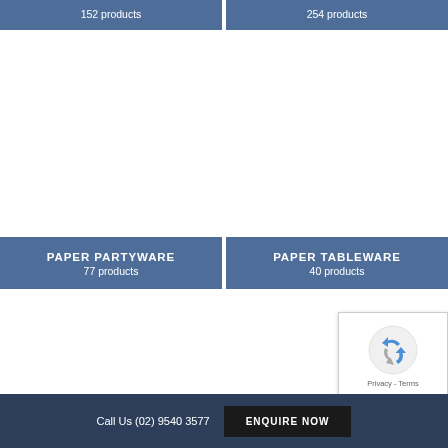152 products
254 products
PAPER PARTYWARE
77 products
PAPER TABLEWARE
40 products
[Figure (other): reCAPTCHA widget with recycling arrows icon and Privacy/Terms links]
Call Us (02) 9540 3577  ENQUIRE NOW